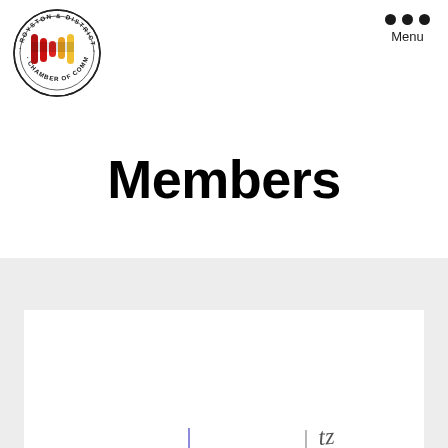[Figure (logo): Royston & District Chamber of Commerce circular logo with colored bar graphic in red, yellow, and dark red]
Menu
Members
[Figure (other): White card/thumbnail partially visible at bottom of page against grey background, with small graphical marks visible]